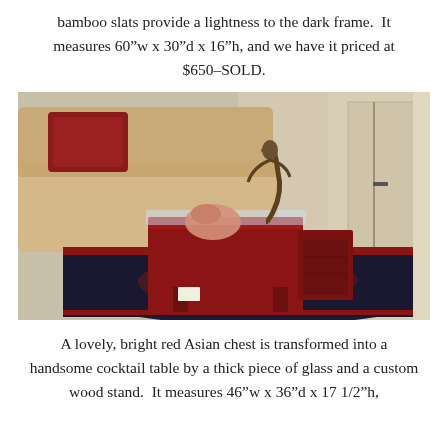bamboo slats provide a lightness to the dark frame.  It measures 60"w x 30"d x 16"h, and we have it priced at $650–SOLD.
[Figure (photo): Interior room photo showing a bright red Asian chest used as a cocktail table with a thick glass top, sitting on a patterned area rug with a beige sofa in the background and a bronze sculpture on the table.]
A lovely, bright red Asian chest is transformed into a handsome cocktail table by a thick piece of glass and a custom wood stand.  It measures 46"w x 36"d x 17 1/2"h,